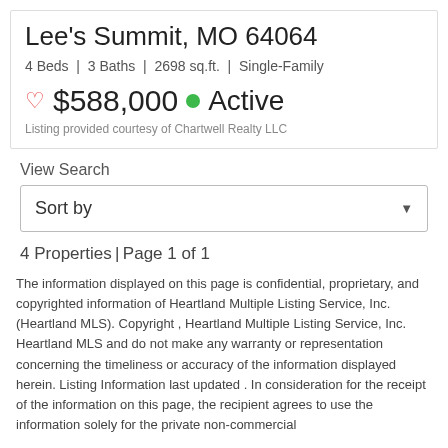Lee's Summit, MO 64064
4 Beds | 3 Baths | 2698 sq.ft. | Single-Family
♡ $588,000 ● Active
Listing provided courtesy of Chartwell Realty LLC
View Search
Sort by
4 Properties | Page 1 of 1
The information displayed on this page is confidential, proprietary, and copyrighted information of Heartland Multiple Listing Service, Inc.(Heartland MLS). Copyright , Heartland Multiple Listing Service, Inc. Heartland MLS and do not make any warranty or representation concerning the timeliness or accuracy of the information displayed herein. Listing Information last updated . In consideration for the receipt of the information on this page, the recipient agrees to use the information solely for the private non-commercial